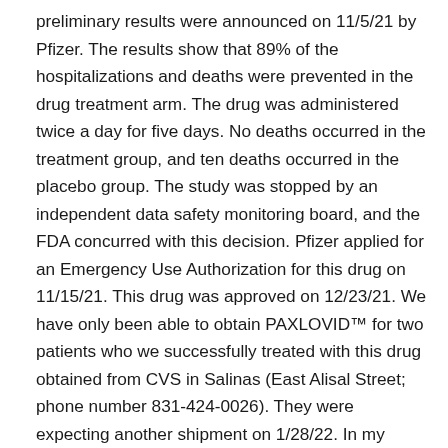preliminary results were announced on 11/5/21 by Pfizer. The results show that 89% of the hospitalizations and deaths were prevented in the drug treatment arm. The drug was administered twice a day for five days. No deaths occurred in the treatment group, and ten deaths occurred in the placebo group. The study was stopped by an independent data safety monitoring board, and the FDA concurred with this decision. Pfizer applied for an Emergency Use Authorization for this drug on 11/15/21. This drug was approved on 12/23/21. We have only been able to obtain PAXLOVID™ for two patients who we successfully treated with this drug obtained from CVS in Salinas (East Alisal Street; phone number 831-424-0026). They were expecting another shipment on 1/28/22. In my opinion, this agent, if more widely available, could markedly alter the course of every coronavirus